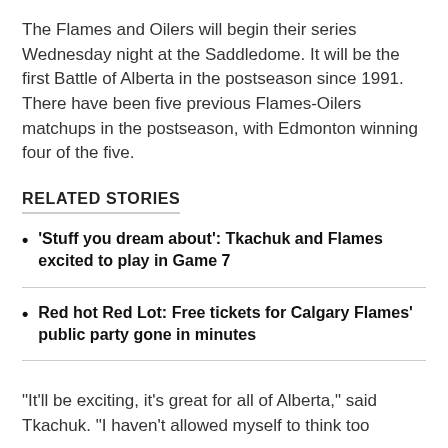The Flames and Oilers will begin their series Wednesday night at the Saddledome. It will be the first Battle of Alberta in the postseason since 1991. There have been five previous Flames-Oilers matchups in the postseason, with Edmonton winning four of the five.
RELATED STORIES
'Stuff you dream about': Tkachuk and Flames excited to play in Game 7
Red hot Red Lot: Free tickets for Calgary Flames' public party gone in minutes
"It'll be exciting, it's great for all of Alberta," said Tkachuk. "I haven't allowed myself to think too